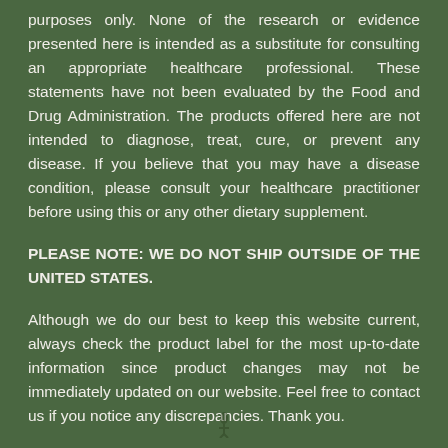purposes only. None of the research or evidence presented here is intended as a substitute for consulting an appropriate healthcare professional. These statements have not been evaluated by the Food and Drug Administration. The products offered here are not intended to diagnose, treat, cure, or prevent any disease. If you believe that you may have a disease condition, please consult your healthcare practitioner before using this or any other dietary supplement.
PLEASE NOTE: WE DO NOT SHIP OUTSIDE OF THE UNITED STATES.
Although we do our best to keep this website current, always check the product label for the most up-to-date information since product changes may not be immediately updated on our website. Feel free to contact us if you notice any discrepancies. Thank you.